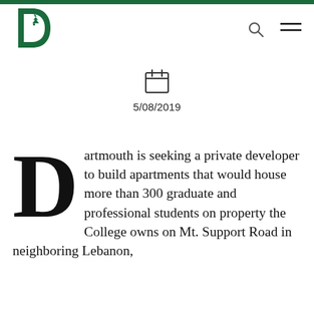[Figure (logo): Dartmouth College green D with pine tree logo]
5/08/2019
Dartmouth is seeking a private developer to build apartments that would house more than 300 graduate and professional students on property the College owns on Mt. Support Road in neighboring Lebanon,